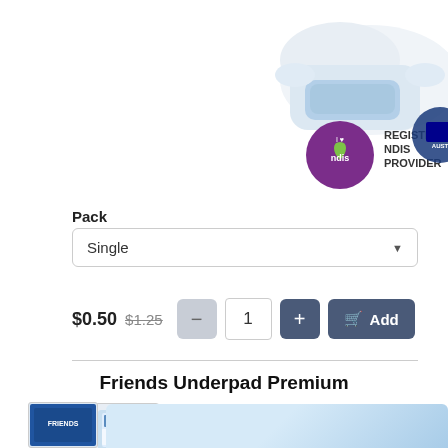[Figure (photo): Partial view of a white adult diaper/pad product with blue section, shown from above. NDIS badge overlay: purple circle with 'I love ndis' and text 'REGISTERED NDIS PROVIDER'. Partial Australian made badge at right edge.]
Pack
Single
$0.50  $1.25
1
Add
Friends Underpad Premium
[Figure (photo): Yellow circular tag/badge icon and small product thumbnail image of Friends Underpad Premium packaging]
Large 60 x 90cm
[Figure (photo): Small thumbnail of Friends brand packaging at bottom left, and partial view of blue/white underpad product at bottom right]